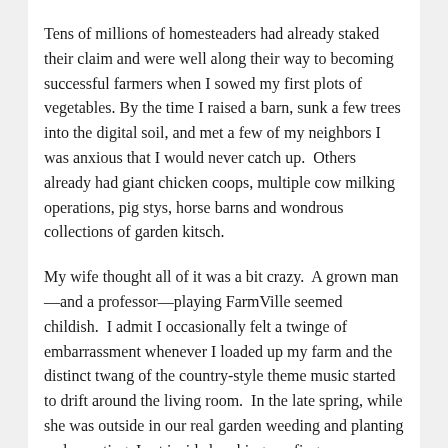Tens of millions of homesteaders had already staked their claim and were well along their way to becoming successful farmers when I sowed my first plots of vegetables. By the time I raised a barn, sunk a few trees into the digital soil, and met a few of my neighbors I was anxious that I would never catch up.  Others already had giant chicken coops, multiple cow milking operations, pig stys, horse barns and wondrous collections of garden kitsch.
My wife thought all of it was a bit crazy.  A grown man—and a professor—playing FarmVille seemed childish.  I admit I occasionally felt a twinge of embarrassment whenever I loaded up my farm and the distinct twang of the country-style theme music started to drift around the living room.  In the late spring, while she was outside in our real garden weeding and planting and sweating, I sat inside brushing my fingers across my new iPad, planting row after row of seeds.  A few weeks later when summer